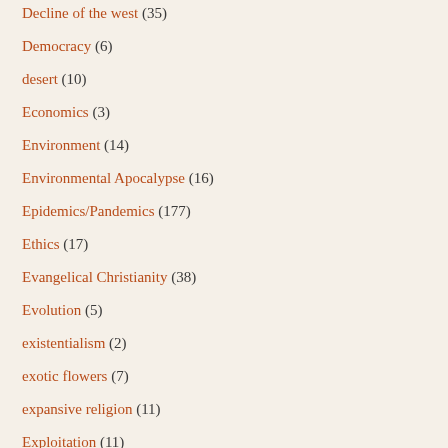Decline of the west (35)
Democracy (6)
desert (10)
Economics (3)
Environment (14)
Environmental Apocalypse (16)
Epidemics/Pandemics (177)
Ethics (17)
Evangelical Christianity (38)
Evolution (5)
existentialism (2)
exotic flowers (7)
expansive religion (11)
Exploitation (11)
Extinction (4)